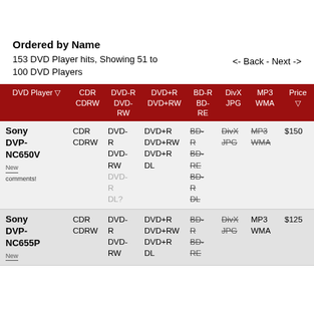Ordered by Name
153 DVD Player hits, Showing 51 to 100 DVD Players
<- Back  -  Next ->
| DVD Player | CDR CDRW | DVD-R DVD-RW | DVD+R DVD+RW | BD-R BD-RE | DivX JPG | MP3 WMA | Price |
| --- | --- | --- | --- | --- | --- | --- | --- |
| Sony DVP-NC650V
New
comments! | CDR CDRW | DVD-R
DVD-RW
DVD-R DL? | DVD+R
DVD+RW
DVD+R DL | BD-R (s)
BD-RE (s)
BD-R DL (s) | DivX (s)
JPG (s) | MP3 (s)
WMA (s) | $150 |
| Sony DVP-NC655P
New | CDR CDRW | DVD-R
DVD-RW | DVD+R
DVD+RW
DVD+R DL | BD-R (s)
BD-RE (s) | DivX (s)
JPG (s) | MP3
WMA | $125 |